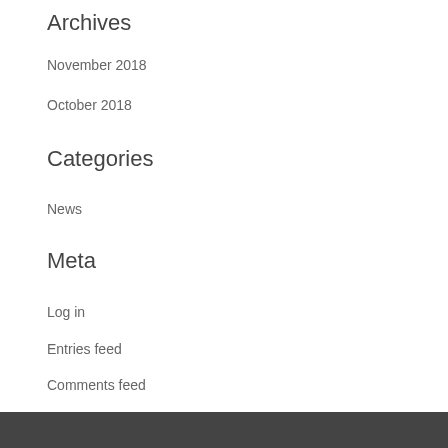Archives
November 2018
October 2018
Categories
News
Meta
Log in
Entries feed
Comments feed
WordPress.org